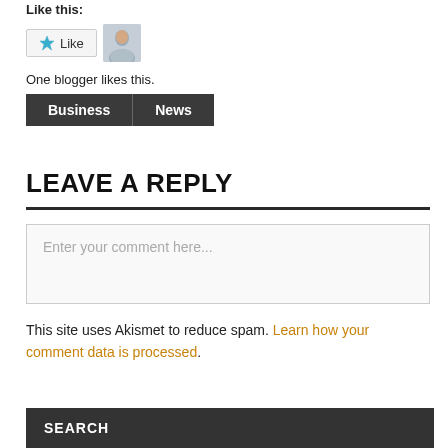Like this:
[Figure (other): Like button widget with blue star icon and avatar photo of a man]
One blogger likes this.
Business   News
LEAVE A REPLY
[Figure (other): Comment text input box with placeholder text: Enter your comment here...]
This site uses Akismet to reduce spam. Learn how your comment data is processed.
SEARCH